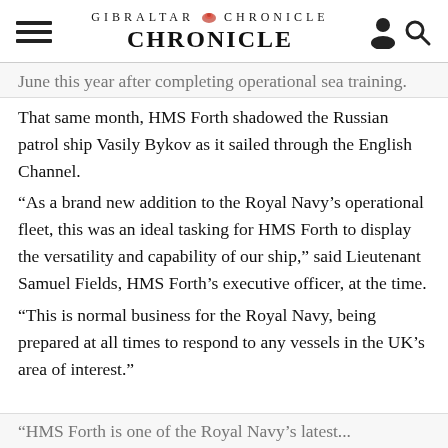GIBRALTAR CHRONICLE
June this year after completing operational sea training.
That same month, HMS Forth shadowed the Russian patrol ship Vasily Bykov as it sailed through the English Channel.
“As a brand new addition to the Royal Navy’s operational fleet, this was an ideal tasking for HMS Forth to display the versatility and capability of our ship,” said Lieutenant Samuel Fields, HMS Forth’s executive officer, at the time.
“This is normal business for the Royal Navy, being prepared at all times to respond to any vessels in the UK’s area of interest.”
“HMS Forth is one of the Royal Navy’s latest...